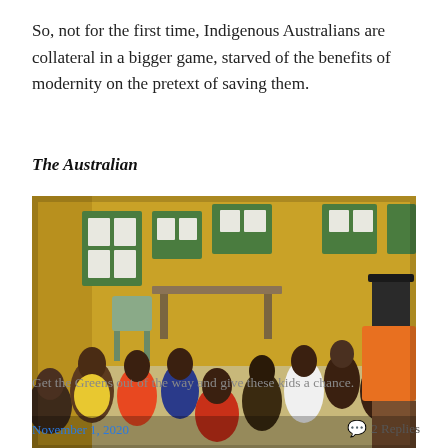So, not for the first time, Indigenous Australians are collateral in a bigger game, starved of the benefits of modernity on the pretext of saving them.
The Australian
[Figure (photo): A group of Indigenous Australian children sitting on a classroom floor looking up attentively, with yellow walls and educational posters in the background. A teacher's hand holds up an orange book or card on the right side.]
Get the Greens out of the way and give these kids a chance.
November 1, 2020   2 Replies